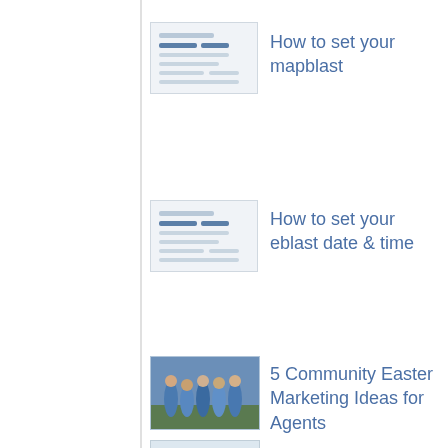[Figure (screenshot): Thumbnail image of a document/form screenshot for 'How to set your mapblast']
How to set your mapblast
[Figure (screenshot): Thumbnail image of a document/form screenshot for 'How to set your eblast date & time']
How to set your eblast date & time
[Figure (photo): Photo of a group of people in blue and white shirts outdoors for '5 Community Easter Marketing Ideas for Agents']
5 Community Easter Marketing Ideas for Agents
[Figure (photo): Photo of a man with his hand near his face for '5 Real Estate Video Ideas for the Camera Shy Agent']
5 Real Estate Video Ideas for the Camera Shy Agent